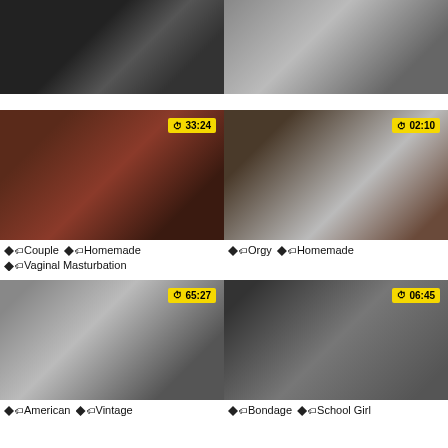[Figure (photo): Video thumbnail - close up legs in black stockings]
[Figure (photo): Video thumbnail - close up of two people]
[Figure (photo): Video thumbnail - two women on bed, duration 33:24]
Couple Vaginal Masturbation
[Figure (photo): Video thumbnail - couple in bedroom, duration 02:10]
Orgy Homemade
[Figure (photo): Video thumbnail - two women, duration 65:27]
American Vintage
[Figure (photo): Video thumbnail - woman in costume, duration 06:45]
Bondage School Girl